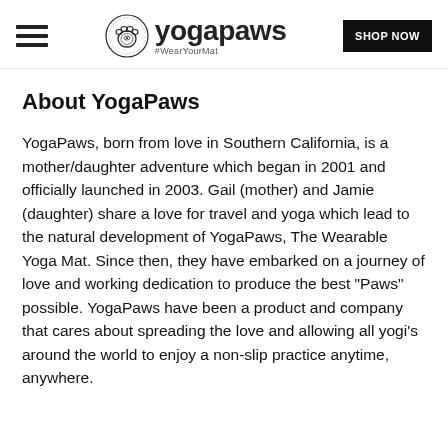yogapaws #WearYourMat | SHOP NOW
About YogaPaws
YogaPaws, born from love in Southern California, is a mother/daughter adventure which began in 2001 and officially launched in 2003. Gail (mother) and Jamie (daughter) share a love for travel and yoga which lead to the natural development of YogaPaws, The Wearable Yoga Mat. Since then, they have embarked on a journey of love and working dedication to produce the best "Paws" possible. YogaPaws have been a product and company that cares about spreading the love and allowing all yogi's around the world to enjoy a non-slip practice anytime, anywhere.